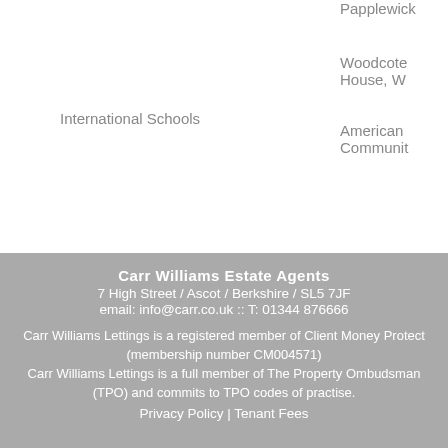Papplewick
Woodcote House, W
International Schools
American Communit
American Communit
Carr Williams Estate Agents
7 High Street / Ascot / Berkshire / SL5 7JF
email: info@carr.co.uk :: T: 01344 876666

Carr Williams Lettings is a registered member of Client Money Protect (membership number CM004571)
Carr Williams Lettings is a full member of The Property Ombudsman (TPO) and commits to TPO codes of practise.
Privacy Policy | Tenant Fees